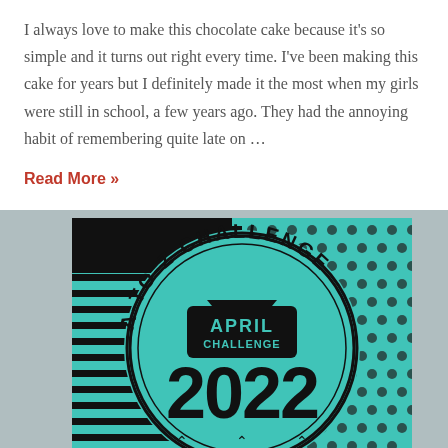I always love to make this chocolate cake because it's so simple and it turns out right every time. I've been making this cake for years but I definitely made it the most when my girls were still in school, a few years ago. They had the annoying habit of remembering quite late on …
Read More »
[Figure (logo): A-to-Z Challenge April Challenge 2022 badge/logo on teal background with black horizontal lines and polka dot pattern]